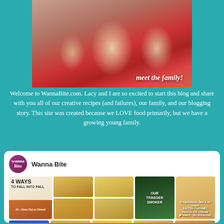[Figure (photo): Family photo showing a man, woman, and young girl all dressed in red, with overlay text 'meet the family!']
Welcome to WannaBite.com. Lacy and I are so excited to start this blog and share with you all of our creative recipes (and failures), our family, and our blogging story. This site was created because we LOVE food primarily, but we have a growing young family.
[Figure (screenshot): Pinterest widget showing Wanna Bite account with logo, account name, and grid of food pin images including '4 Ways to Fall Into Fall', various food photos, 'Our Traeger Smoker', and 'Salted Caramel Peach Ice Cream']